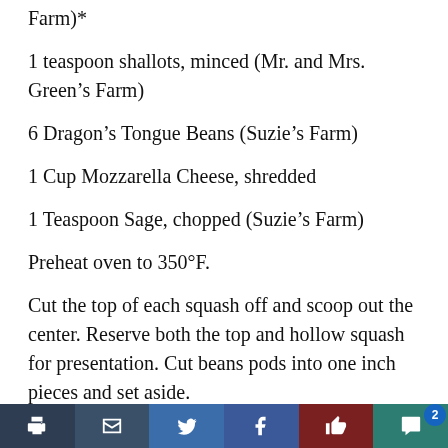Farm)*
1 teaspoon shallots, minced (Mr. and Mrs. Green's Farm)
6 Dragon’s Tongue Beans (Suzie’s Farm)
1 Cup Mozzarella Cheese, shredded
1 Teaspoon Sage, chopped (Suzie’s Farm)
Preheat oven to 350°F.
Cut the top of each squash off and scoop out the center. Reserve both the top and hollow squash for presentation. Cut beans pods into one inch pieces and set aside.
Cook pasta in boiling water until al dente,
Print | Email | Twitter | Facebook | Like | Comment | 2